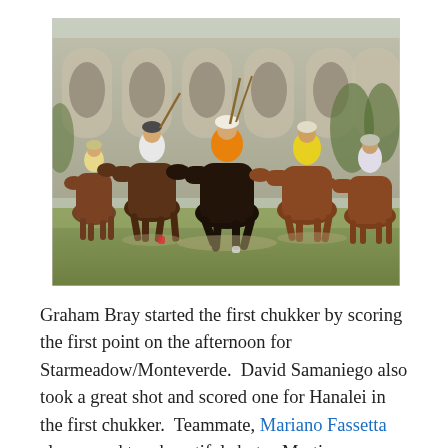[Figure (photo): Polo match action photo showing several players on horseback galloping across a field, with arched building structures visible in the background. Players wear white and yellow jerseys.]
Graham Bray started the first chukker by scoring the first point on the afternoon for Starmeadow/Monteverde.  David Samaniego also took a great shot and scored one for Hanalei in the first chukker.  Teammate, Mariano Fassetta also scored two beautiful shots.  Martin